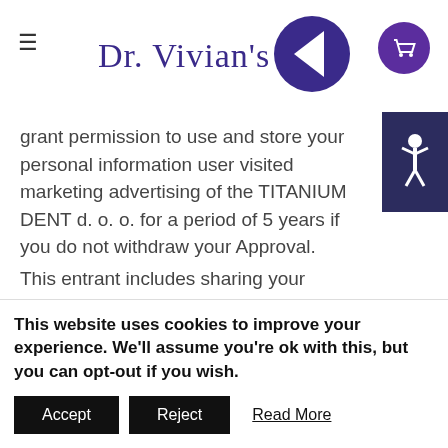Dr. Vivian's [logo]
grant permission to use and store your personal information user visited marketing advertising of the TITANIUM DENT d. o. o. for a period of 5 years if you do not withdraw your Approval.
This entrant includes sharing your personal information with Google Ireland (Google), Facebook Ireland Ltd. (Facebook), Instagram Inc. (Instagram) for the purpose of the targeted relevant advertising, Send Grid Inc., The Rocket Science Group LLC d /b / a Mail Chimp for the purpose of sending marketing emails. In connection with
This website uses cookies to improve your experience. We'll assume you're ok with this, but you can opt-out if you wish.
Accept
Reject
Read More